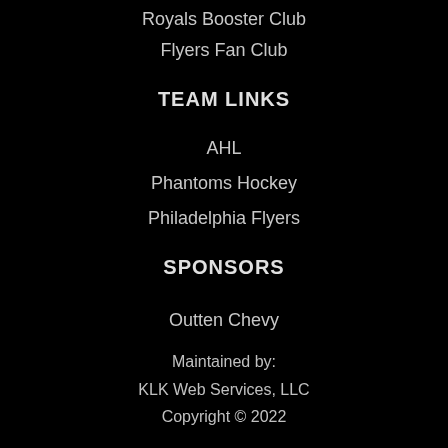Royals Booster Club
Flyers Fan Club
TEAM LINKS
AHL
Phantoms Hockey
Philadelphia Flyers
SPONSORS
Outten Chevy
Maintained by:
KLK Web Services, LLC
Copyright © 2022